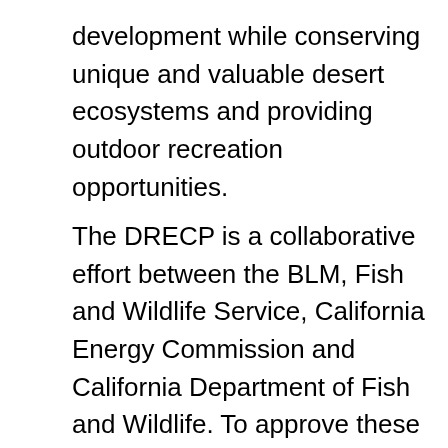development while conserving unique and valuable desert ecosystems and providing outdoor recreation opportunities.
The DRECP is a collaborative effort between the BLM, Fish and Wildlife Service, California Energy Commission and California Department of Fish and Wildlife. To approve these sites for renewable energy projects, the Department and the BLM work with Tribal governments, local communities, state regulators, industry, and other federal